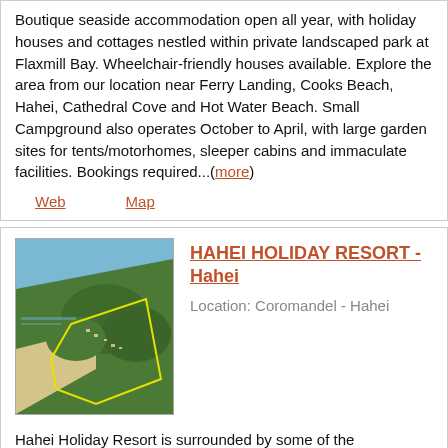Boutique seaside accommodation open all year, with holiday houses and cottages nestled within private landscaped park at Flaxmill Bay. Wheelchair-friendly houses available. Explore the area from our location near Ferry Landing, Cooks Beach, Hahei, Cathedral Cove and Hot Water Beach. Small Campground also operates October to April, with large garden sites for tents/motorhomes, sleeper cabins and immaculate facilities. Bookings required...(more)
Web   Map
HAHEI HOLIDAY RESORT - Hahei
Location: Coromandel - Hahei
[Figure (photo): Aerial photograph of Hahei Holiday Resort and surrounding coastal area with beach, sea, and forested hillside. A yellow outline marks the resort boundary.]
Hahei Holiday Resort is surrounded by some of the Coromandel's top attractions and has everything you need to enjoy a real Kiwi beach holiday. From campsites to Sea View Villas, a wide range of accommodation is offered. Hahei...